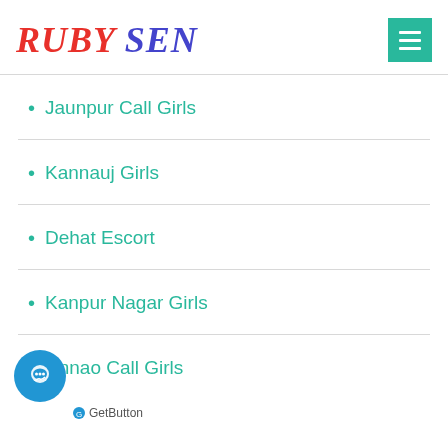RUBY SEN
Jaunpur Call Girls
Kannauj Girls
Dehat Escort
Kanpur Nagar Girls
Unnao Call Girls
GetButton